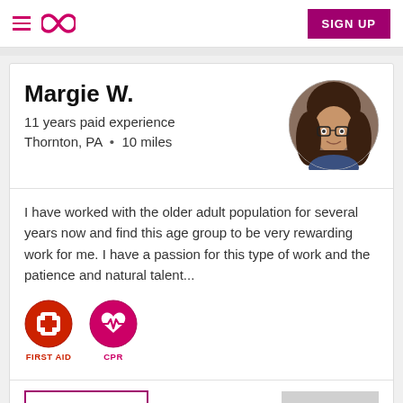≡ ∞  SIGN UP
Margie W.
11 years paid experience
Thornton, PA  • 10 miles
[Figure (photo): Circular profile photo of a woman with glasses and long brown hair]
I have worked with the older adult population for several years now and find this age group to be very rewarding work for me. I have a passion for this type of work and the patience and natural talent...
[Figure (infographic): Two certification badges: FIRST AID (red circle with medical cross icon) and CPR (magenta circle with heart rate icon)]
MESSAGE
Jump to Top